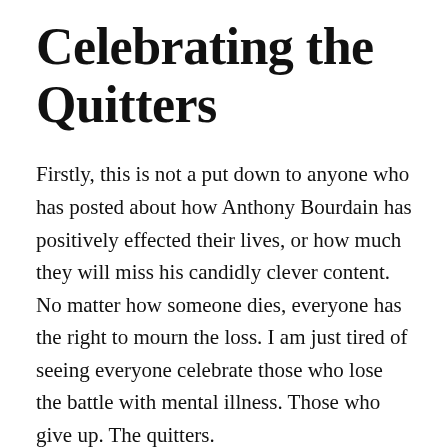Celebrating the Quitters
Firstly, this is not a put down to anyone who has posted about how Anthony Bourdain has positively effected their lives, or how much they will miss his candidly clever content. No matter how someone dies, everyone has the right to mourn the loss. I am just tired of seeing everyone celebrate those who lose the battle with mental illness. Those who give up. The quitters.
I'd like to honor the people that fight a range of mental illnesses every day and get'er done. They show up to work. They pick their kids up from school. They do the housework. They take care of